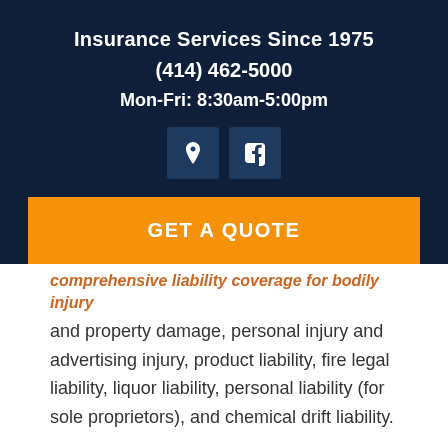Insurance Services Since 1975
(414) 462-5000
Mon-Fri: 8:30am-5:00pm
[Figure (illustration): Two icon buttons: a location pin icon and a Facebook icon, both on dark blue square backgrounds]
GET A QUOTE
comprehensive liability coverage for bodily injury and property damage, personal injury and advertising injury, product liability, fire legal liability, liquor liability, personal liability (for sole proprietors), and chemical drift liability.
A variety of optional coverages are also available to